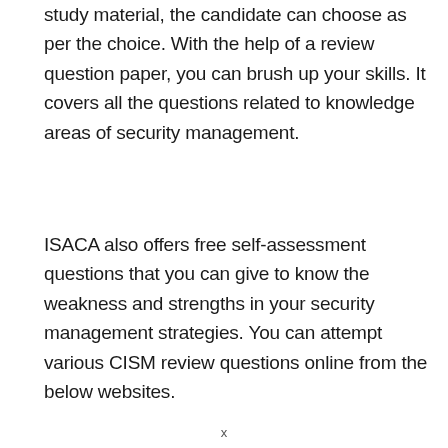study material, the candidate can choose as per the choice. With the help of a review question paper, you can brush up your skills. It covers all the questions related to knowledge areas of security management.
ISACA also offers free self-assessment questions that you can give to know the weakness and strengths in your security management strategies. You can attempt various CISM review questions online from the below websites.
x